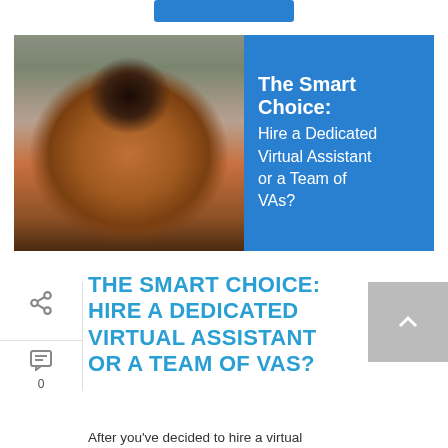[Figure (illustration): Blue rectangular button/banner at top center of page]
[Figure (photo): Split image: left side shows a laughing woman with curly hair and glasses wearing a brown turtleneck, right side is a blue panel with white text reading 'The Smart Choice: Hire a Dedicated Virtual Assistant or a Team of VAs?' (partially cut off at bottom)]
THE SMART CHOICE: HIRE A DEDICATED VIRTUAL ASSISTANT OR A TEAM OF VAS?
After you've decided to hire a virtual